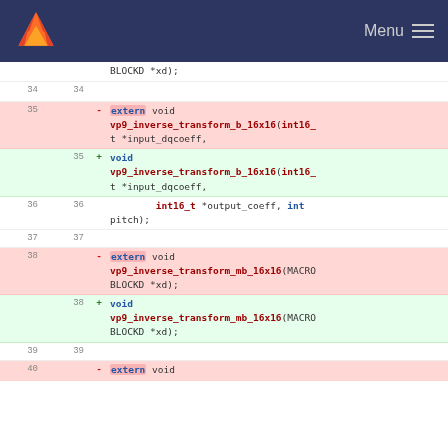Menu
BLOCKD *xd);
34   34
35 - extern void vp9_inverse_transform_b_16x16(int16_t *input_dqcoeff,
35 + void vp9_inverse_transform_b_16x16(int16_t *input_dqcoeff,
36  36        int16_t *output_coeff, int pitch);
37  37
38 - extern void vp9_inverse_transform_mb_16x16(MACROBLOCKD *xd);
38 + void vp9_inverse_transform_mb_16x16(MACROBLOCKD *xd);
39  39
40 - extern void